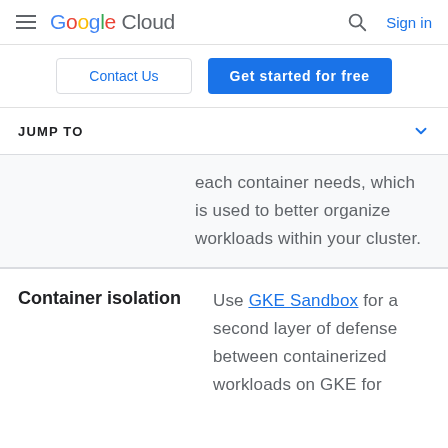Google Cloud — Sign in
Contact Us | Get started for free
JUMP TO
each container needs, which is used to better organize workloads within your cluster.
Container isolation
Use GKE Sandbox for a second layer of defense between containerized workloads on GKE for